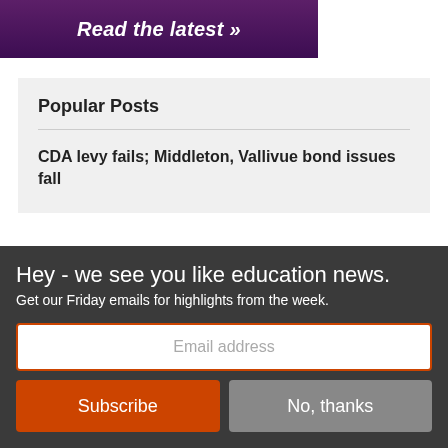[Figure (illustration): Purple banner with bold italic white text 'Read the latest »' on a dark purple background]
Popular Posts
CDA levy fails; Middleton, Vallivue bond issues fall
Hey - we see you like education news.
Get our Friday emails for highlights from the week.
Email address
Subscribe
No, thanks